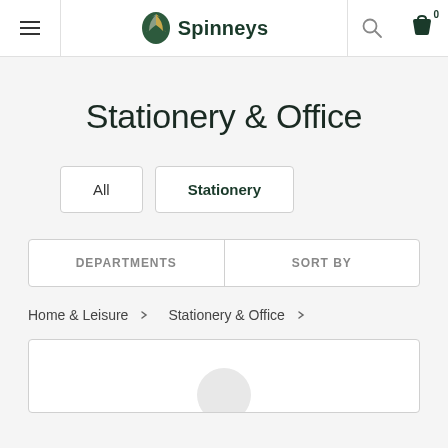[Figure (logo): Spinneys logo with green and gold leaf icon and text]
Stationery & Office
All
Stationery
DEPARTMENTS
SORT BY
Home & Leisure ∨    Stationery & Office ∨